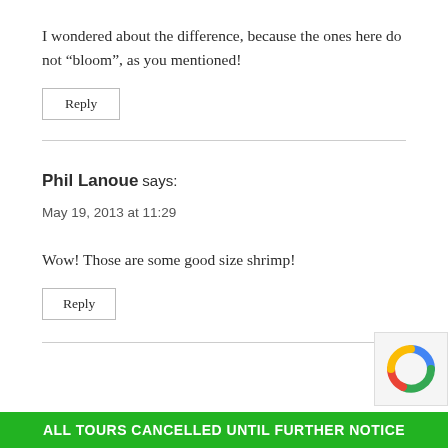I wondered about the difference, because the ones here do not “bloom”, as you mentioned!
Reply
Phil Lanoue says:
May 19, 2013 at 11:29
Wow! Those are some good size shrimp!
Reply
ALL TOURS CANCELLED UNTIL FURTHER NOTICE